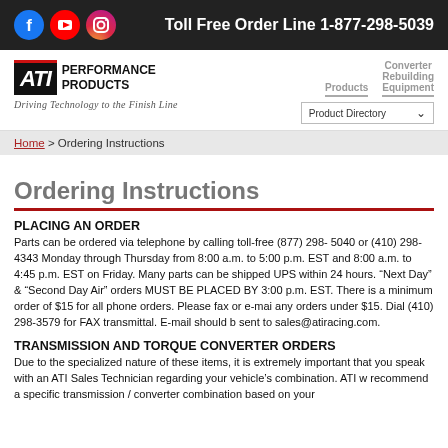Toll Free Order Line 1-877-298-5039
[Figure (logo): ATI Performance Products logo with social media icons (Facebook, YouTube, Instagram)]
Driving Technology to the Finish Line
Products | Converter Rebuilding Equipment
Product Directory
Home > Ordering Instructions
Ordering Instructions
PLACING AN ORDER
Parts can be ordered via telephone by calling toll-free (877) 298- 5040 or (410) 298-4343 Monday through Thursday from 8:00 a.m. to 5:00 p.m. EST and 8:00 a.m. to 4:45 p.m. EST on Friday. Many parts can be shipped UPS within 24 hours. “Next Day” & “Second Day Air” orders MUST BE PLACED BY 3:00 p.m. EST. There is a minimum order of $15 for all phone orders. Please fax or e-mail any orders under $15. Dial (410) 298-3579 for FAX transmittal. E-mail should be sent to sales@atiracing.com.
TRANSMISSION AND TORQUE CONVERTER ORDERS
Due to the specialized nature of these items, it is extremely important that you speak with an ATI Sales Technician regarding your vehicle’s combination. ATI w... recommend a specific transmission / converter combination based on your...